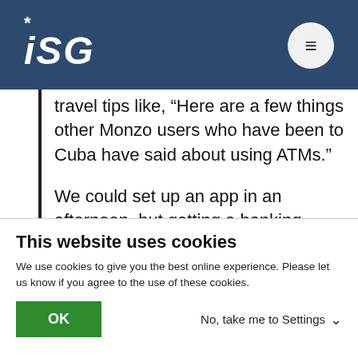ISG
travel tips like, “Here are a few things other Monzo users who have been to Cuba have said about using ATMs.”
We could set up an app in an afternoon, but getting a banking license took us two years. The easy way to do it would have been to just do everything on an agency basis, without bothering with the banking license. But having a license means you can
This website uses cookies
We use cookies to give you the best online experience. Please let us know if you agree to the use of these cookies.
OK
No, take me to Settings